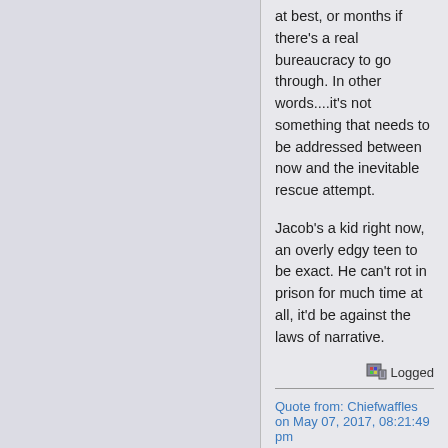at best, or months if there's a real bureaucracy to go through. In other words....it's not something that needs to be addressed between now and the inevitable rescue attempt.
Jacob's a kid right now, an overly edgy teen to be exact. He can't rot in prison for much time at all, it'd be against the laws of narrative.
Logged
Quote from: Chiefwaffles on May 07, 2017, 08:21:49 pm
We shall make the highest quality of quality quantities of soldiers with quantities of quality.
Glass
Bay Watcher
[Figure (illustration): Forum avatar image showing a fantasy warrior character with fire/dark background]
Re: (SG)
SPAMUNDERLORD:
Chapter III:
World's Fall:
And now we win